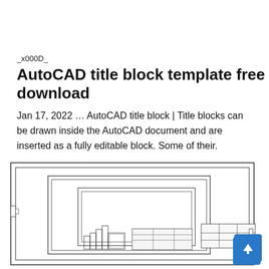_x000D_
AutoCAD title block template free download
Jan 17, 2022 … AutoCAD title block | Title blocks can be drawn inside the AutoCAD document and are inserted as a fully editable block. Some of their.
cadblogs.com
[Figure (engineering-diagram): AutoCAD title block template drawing showing nested rectangular border frames with a title block area in the lower right portion, partially visible at bottom of page. A blue back-to-top button with an upward arrow is overlaid in the bottom-right corner.]